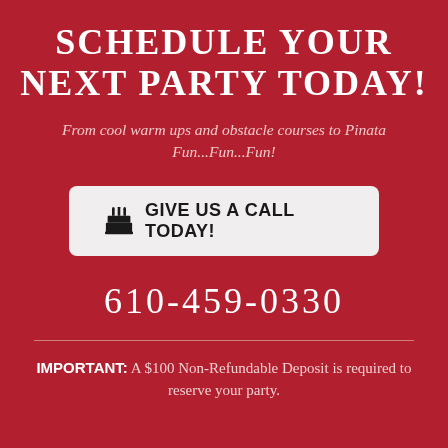SCHEDULE YOUR NEXT PARTY TODAY!
From cool warm ups and obstacle courses to Pinata Fun...Fun...Fun!
[Figure (other): Button with birthday cake icon and text: GIVE US A CALL TODAY!]
610-459-0330
IMPORTANT: A $100 Non-Refundable Deposit is required to reserve your party.